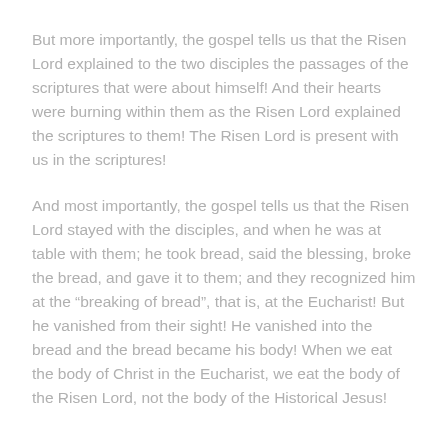But more importantly, the gospel tells us that the Risen Lord explained to the two disciples the passages of the scriptures that were about himself! And their hearts were burning within them as the Risen Lord explained the scriptures to them! The Risen Lord is present with us in the scriptures!
And most importantly, the gospel tells us that the Risen Lord stayed with the disciples, and when he was at table with them; he took bread, said the blessing, broke the bread, and gave it to them; and they recognized him at the “breaking of bread”, that is, at the Eucharist! But he vanished from their sight! He vanished into the bread and the bread became his body! When we eat the body of Christ in the Eucharist, we eat the body of the Risen Lord, not the body of the Historical Jesus!